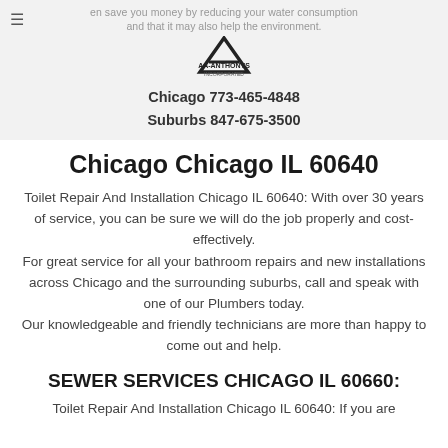en save you money by reducing your water consumption and that it may also help the environment.
[Figure (logo): AA-Anthonys Incorporated logo with triangle/A shape]
Chicago 773-465-4848
Suburbs 847-675-3500
Chicago Chicago IL 60640
Toilet Repair And Installation Chicago IL 60640: With over 30 years of service, you can be sure we will do the job properly and cost-effectively. For great service for all your bathroom repairs and new installations across Chicago and the surrounding suburbs, call and speak with one of our Plumbers today. Our knowledgeable and friendly technicians are more than happy to come out and help.
SEWER SERVICES CHICAGO IL 60660:
Toilet Repair And Installation Chicago IL 60640: If you are